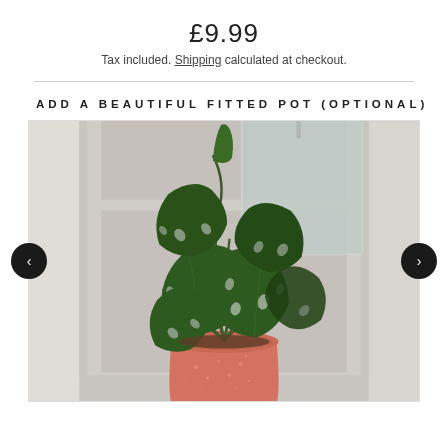£9.99
Tax included. Shipping calculated at checkout.
ADD A BEAUTIFUL FITTED POT (OPTIONAL)
[Figure (photo): A Monstera monkey mask (Monstera obliqua) plant with perforated green leaves in a terracotta/coral speckled ceramic pot, sitting on a white shelf with a white door and mirror in the background.]